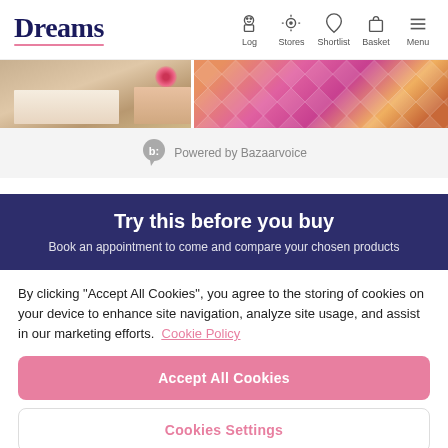Dreams — Log | Stores | Shortlist | Basket | Menu
[Figure (photo): Partial view of two product/lifestyle images: left shows bedding/notebook on carpet, right shows geometric diamond-patterned textile in pink/gold tones]
Powered by Bazaarvoice
Try this before you buy
Book an appointment to come and compare your chosen products
By clicking "Accept All Cookies", you agree to the storing of cookies on your device to enhance site navigation, analyze site usage, and assist in our marketing efforts.  Cookie Policy
Accept All Cookies
Cookies Settings